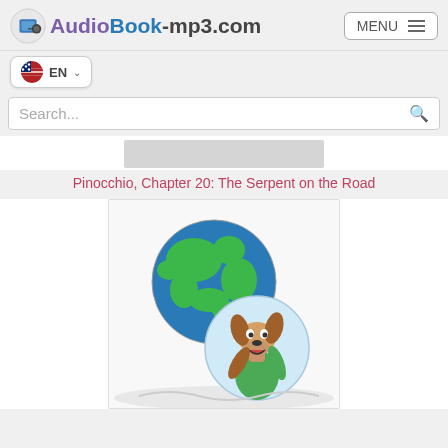AudioBook-mp3.com
EN
Search...
Pinocchio, Chapter 20: The Serpent on the Road
[Figure (illustration): Illustration showing a globe (Earth) with green continents and blue oceans, overlapping with a circular vignette of a cartoon dog character wearing a green outfit, head tilted up, against a light blue background. The scene is set on a simple landscape.]